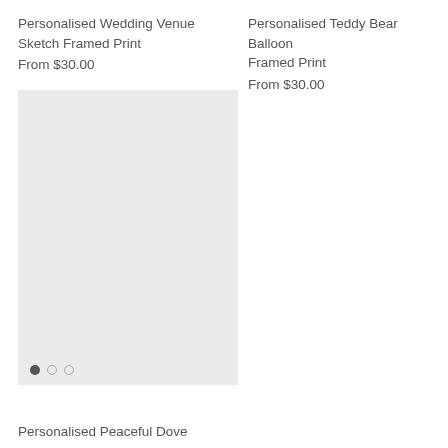Personalised Wedding Venue Sketch Framed Print
From $30.00
Personalised Teddy Bear Balloon Framed Print
From $30.00
[Figure (photo): Light grey placeholder image box with three pagination dots at the bottom (one filled, two empty)]
Personalised Peaceful Dove